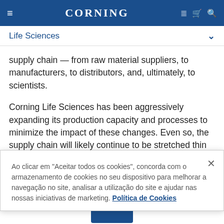CORNING
Life Sciences
supply chain — from raw material suppliers, to manufacturers, to distributors, and, ultimately, to scientists.
Corning Life Sciences has been aggressively expanding its production capacity and processes to minimize the impact of these changes. Even so, the supply chain will likely continue to be stretched thin for a while yet.
Lydia Kenton Walsh, Corning's Vice President of
Ao clicar em "Aceitar todos os cookies", concorda com o armazenamento de cookies no seu dispositivo para melhorar a navegação no site, analisar a utilização do site e ajudar nas nossas iniciativas de marketing. Política de Cookies